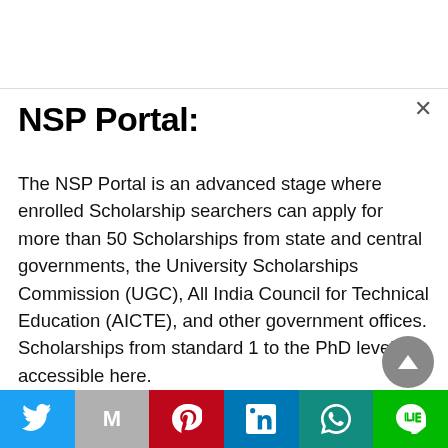NSP Portal:
The NSP Portal is an advanced stage where enrolled Scholarship searchers can apply for more than 50 Scholarships from state and central governments, the University Scholarships Commission (UGC), All India Council for Technical Education (AICTE), and other government offices. Scholarships from standard 1 to the PhD level are accessible here.